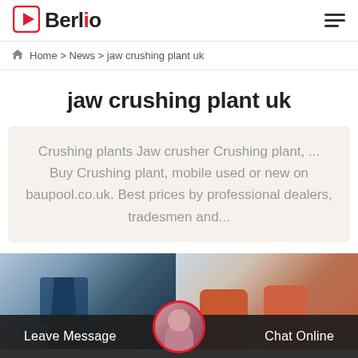Berlio
Home > News > jaw crushing plant uk
jaw crushing plant uk
Crushing plants Jaw crusher Crushing plant, ... Buy Crushing plant, mobile used or new on baupool.co.uk. Best prices by professional dealers, tradesmen and...
[Figure (photo): Two industrial/crushing plant images side by side: left shows a dark industrial tower structure, right shows orange/red industrial equipment.]
Leave Message   Chat Online